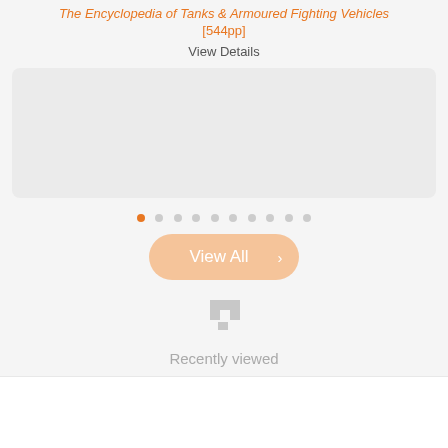The Encyclopedia of Tanks & Armoured Fighting Vehicles [544pp]
View Details
[Figure (other): Carousel placeholder area (light gray rounded rectangle)]
[Figure (other): Carousel dot indicators: 10 dots, first dot active (orange), rest gray]
[Figure (other): View All button with orange/peach rounded pill shape and right arrow]
[Figure (other): Recently viewed icon: pixelated/tetris-block style gray icon]
Recently viewed
[Figure (other): White card area at bottom of page]